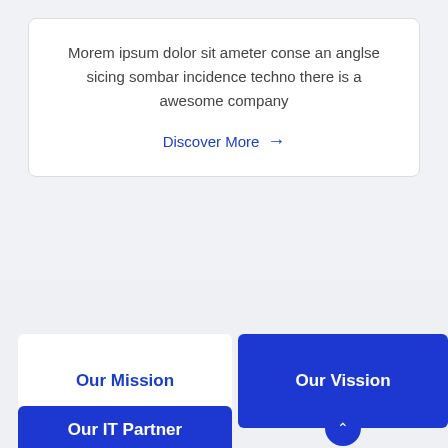Morem ipsum dolor sit ameter conse an anglse sicing sombar incidence techno there is a awesome company
Discover More →
Our Mission
Our Vission
Our IT Partner